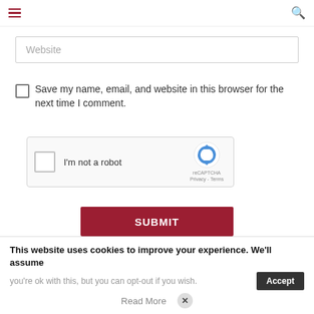Navigation bar with hamburger menu and search icon
Website
Save my name, email, and website in this browser for the next time I comment.
[Figure (screenshot): reCAPTCHA widget with checkbox labeled 'I'm not a robot', reCAPTCHA logo, and Privacy - Terms links]
SUBMIT
This website uses cookies to improve your experience. We'll assume you're ok with this, but you can opt-out if you wish.
Accept
Read More